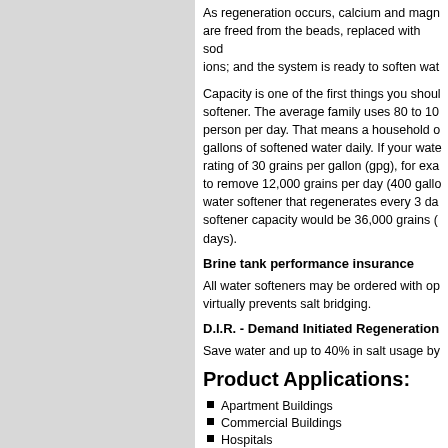As regeneration occurs, calcium and magnesium ions are freed from the beads, replaced with sodium ions; and the system is ready to soften water again.
Capacity is one of the first things you should look for in a softener. The average family uses 80 to 100 gallons per person per day. That means a household of 4 uses 400 gallons of softened water daily. If your water has a hardness rating of 30 grains per gallon (gpg), for example, you need to remove 12,000 grains per day (400 gallons x 30 gpg). A water softener that regenerates every 3 days, the required softener capacity would be 36,000 grains (12,000 x 3 days).
Brine tank performance insurance
All water softeners may be ordered with optional agitator that virtually prevents salt bridging.
D.I.R. - Demand Initiated Regeneration
Save water and up to 40% in salt usage by
Product Applications:
Apartment Buildings
Commercial Buildings
Hospitals
Mobile Home Parks
R.O. Pre-Treatment Boiler Feed Water
Condominiums
Laundries